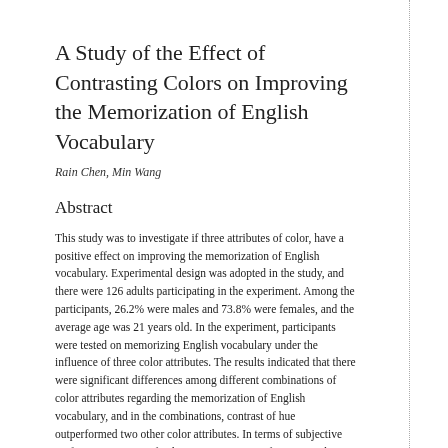A Study of the Effect of Contrasting Colors on Improving the Memorization of English Vocabulary
Rain Chen, Min Wang
Abstract
This study was to investigate if three attributes of color, have a positive effect on improving the memorization of English vocabulary. Experimental design was adopted in the study, and there were 126 adults participating in the experiment. Among the participants, 26.2% were males and 73.8% were females, and the average age was 21 years old. In the experiment, participants were tested on memorizing English vocabulary under the influence of three color attributes. The results indicated that there were significant differences among different combinations of color attributes regarding the memorization of English vocabulary, and in the combinations, contrast of hue outperformed two other color attributes. In terms of subjective preference, contrast of value was participants' favorite on the average.
Full Text: